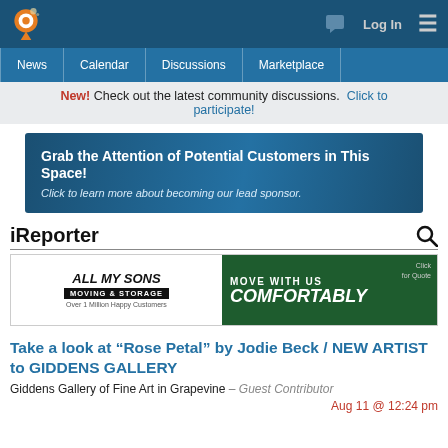Log In ≡
News  Calendar  Discussions  Marketplace
New! Check out the latest community discussions. Click to participate!
[Figure (infographic): Blue gradient advertisement banner: 'Grab the Attention of Potential Customers in This Space! Click to learn more about becoming our lead sponsor.']
iReporter
[Figure (infographic): All My Sons Moving & Storage advertisement: 'MOVE WITH US COMFORTABLY - Click for Quote']
Take a look at “Rose Petal” by Jodie Beck / NEW ARTIST to GIDDENS GALLERY
Giddens Gallery of Fine Art in Grapevine – Guest Contributor
Aug 11 @ 12:24 pm